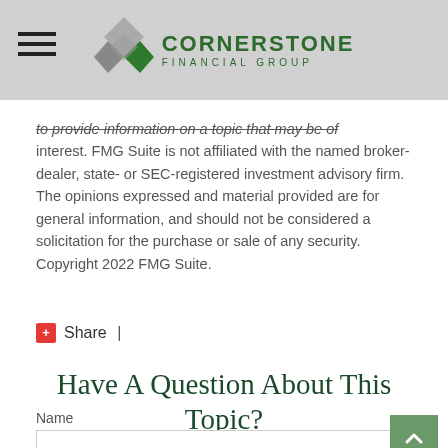Cornerstone Financial Group
to provide information on a topic that may be of interest. FMG Suite is not affiliated with the named broker-dealer, state- or SEC-registered investment advisory firm. The opinions expressed and material provided are for general information, and should not be considered a solicitation for the purchase or sale of any security. Copyright 2022 FMG Suite.
Share |
Have A Question About This Topic?
Name